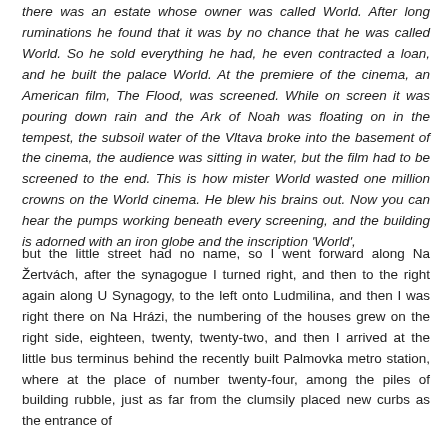there was an estate whose owner was called World. After long ruminations he found that it was by no chance that he was called World. So he sold everything he had, he even contracted a loan, and he built the palace World. At the premiere of the cinema, an American film, The Flood, was screened. While on screen it was pouring down rain and the Ark of Noah was floating on in the tempest, the subsoil water of the Vltava broke into the basement of the cinema, the audience was sitting in water, but the film had to be screened to the end. This is how mister World wasted one million crowns on the World cinema. He blew his brains out. Now you can hear the pumps working beneath every screening, and the building is adorned with an iron globe and the inscription 'World',
but the little street had no name, so I went forward along Na Žertvách, after the synagogue I turned right, and then to the right again along U Synagogy, to the left onto Ludmilina, and then I was right there on Na Hrázi, the numbering of the houses grew on the right side, eighteen, twenty, twenty-two, and then I arrived at the little bus terminus behind the recently built Palmovka metro station, where at the place of number twenty-four, among the piles of building rubble, just as far from the clumsily placed new curbs as the entrance of